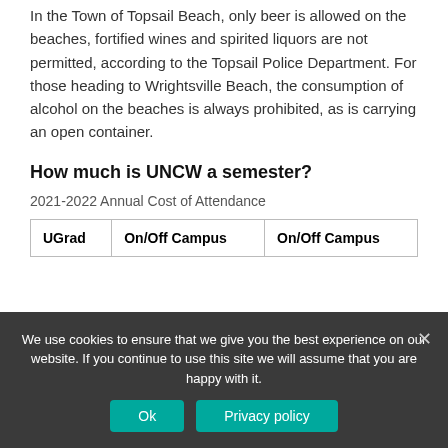In the Town of Topsail Beach, only beer is allowed on the beaches, fortified wines and spirited liquors are not permitted, according to the Topsail Police Department. For those heading to Wrightsville Beach, the consumption of alcohol on the beaches is always prohibited, as is carrying an open container.
How much is UNCW a semester?
2021-2022 Annual Cost of Attendance
| UGrad | On/Off Campus | On/Off Campus |
| --- | --- | --- |
We use cookies to ensure that we give you the best experience on our website. If you continue to use this site we will assume that you are happy with it.